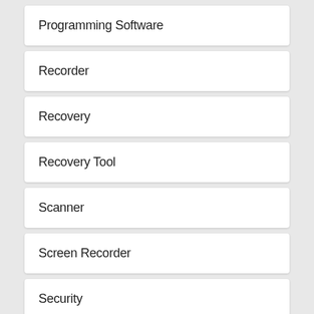Programming Software
Recorder
Recovery
Recovery Tool
Scanner
Screen Recorder
Security